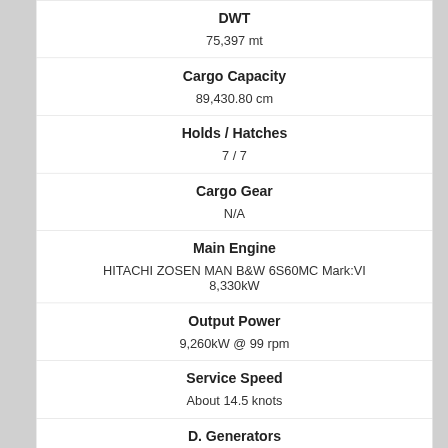| Field | Value |
| --- | --- |
| DWT | 75,397 mt |
| Cargo Capacity | 89,430.80 cm |
| Holds / Hatches | 7 / 7 |
| Cargo Gear | N/A |
| Main Engine | HITACHI ZOSEN MAN B&W 6S60MC Mark:VI
8,330kW |
| Output Power | 9,260kW @ 99 rpm |
| Service Speed | About 14.5 knots |
| D. Generators |  |